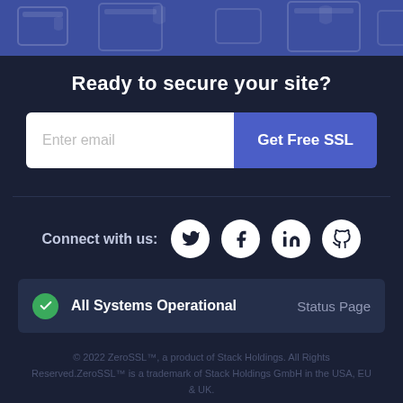[Figure (illustration): Dark blue top banner with faint shield/browser wireframe pattern overlay]
Ready to secure your site?
[Figure (screenshot): Email input field with placeholder 'Enter email' and a blue 'Get Free SSL' button]
Connect with us:
[Figure (illustration): Four social media icons: Twitter, Facebook, LinkedIn, GitHub in white circles]
All Systems Operational   Status Page
© 2022 ZeroSSL™, a product of Stack Holdings. All Rights Reserved.ZeroSSL™ is a trademark of Stack Holdings GmbH in the USA, EU & UK.